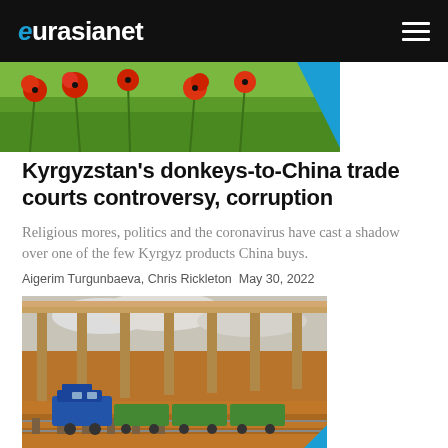eurasianet
[Figure (photo): Close-up of red poppies and green foliage in a field]
Kyrgyzstan's donkeys-to-China trade courts controversy, corruption
Religious mores, politics and the coronavirus have cast a shadow over one of the few Kyrgyz products China buys.
Aigerim Turgunbaeva, Chris Rickleton May 30, 2022
[Figure (photo): A blue freight train passing under a large industrial structure in a dry desert landscape]